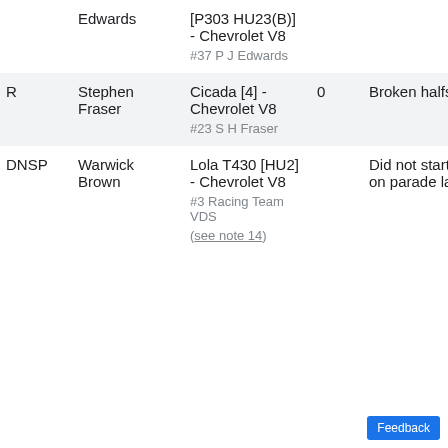| Pos | Driver | Car | Laps | Notes |
| --- | --- | --- | --- | --- |
|  | Edwards | [P303 HU23(B)] - Chevrolet V8
#37 P J Edwards |  |  |
| R | Stephen Fraser | Cicada [4] - Chevrolet V8
#23 S H Fraser | 0 | Broken halfsh... |
| DNSP | Warwick Brown | Lola T430 [HU2] - Chevrolet V8
#3 Racing Team VDS (see note 14) |  | Did not start (retired on parade lap) |